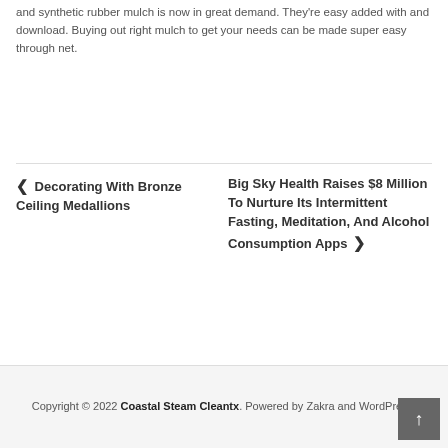and synthetic rubber mulch is now in great demand. They're easy added with and download. Buying out right mulch to get your needs can be made super easy through net.
◀ Decorating With Bronze Ceiling Medallions
Big Sky Health Raises $8 Million To Nurture Its Intermittent Fasting, Meditation, And Alcohol Consumption Apps ▶
Copyright © 2022 Coastal Steam Cleantx. Powered by Zakra and WordPress.